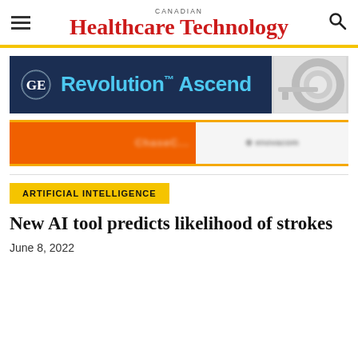CANADIAN Healthcare Technology
[Figure (advertisement): GE Revolution Ascend CT scanner advertisement with dark navy background, GE logo, cyan text, and CT machine image on right]
[Figure (advertisement): Enovacom advertisement with orange background on left and white background on right with blurred text and logo]
ARTIFICIAL INTELLIGENCE
New AI tool predicts likelihood of strokes
June 8, 2022